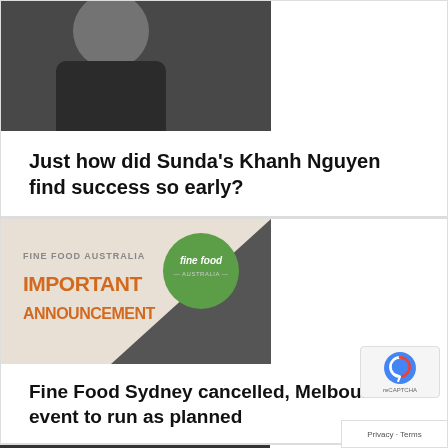[Figure (photo): Person in black outfit seated in a restaurant/kitchen setting, partially cropped at top]
Just how did Sunda’s Khanh Nguyen find success so early?
[Figure (illustration): Fine Food Australia advertisement with orange bold text reading IMPORTANT ANNOUNCEMENT on beige background with dark triangle and green circular logo]
Fine Food Sydney cancelled, Melbourne event to run as planned
[Figure (photo): Partial photo of another person, cropped at bottom edge]